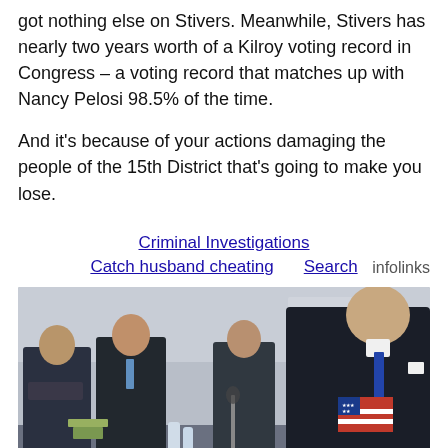got nothing else on Stivers. Meanwhile, Stivers has nearly two years worth of a Kilroy voting record in Congress – a voting record that matches up with Nancy Pelosi 98.5% of the time.
And it's because of your actions damaging the people of the 15th District that's going to make you lose.
Criminal Investigations
Catch husband cheating   Search   infolinks
[Figure (photo): Photo of men in suits at a conference table, with a prominent older bald man in a dark suit in the foreground holding an American flag, at what appears to be a G7 Germany summit meeting.]